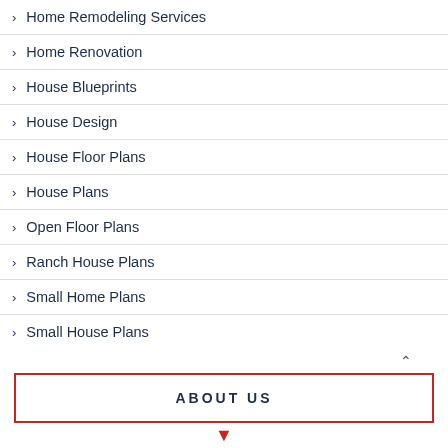Home Remodeling Services
Home Renovation
House Blueprints
House Design
House Floor Plans
House Plans
Open Floor Plans
Ranch House Plans
Small Home Plans
Small House Plans
ABOUT US